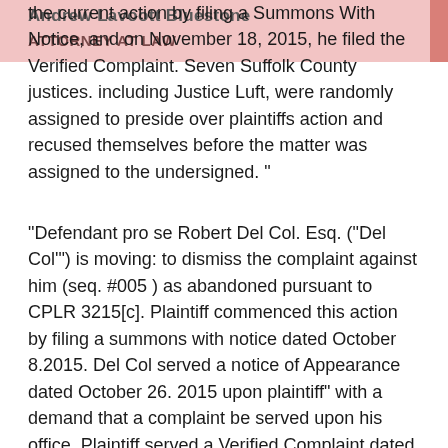the current action by filing a Summons With Notice, and on November 18, 2015, he filed the Verified Complaint. Seven Suffolk County justices. including Justice Luft, were randomly assigned to preside over plaintiffs action and recused themselves before the matter was assigned to the undersigned. “
“Defendant pro se Robert Del Col. Esq. (“Del Col’”) is moving: to dismiss the complaint against him (seq. #005 ) as abandoned pursuant to CPLR 3215[c]. Plaintiff commenced this action by filing a summons with notice dated October 8.2015. Del Col served a notice of Appearance dated October 26. 2015 upon plaintiff” with a demand that a complaint be served upon his office. Plaintiff served a Verified Complaint dated November 18, 2015 on all defendants. Del Col never answered the complaint.